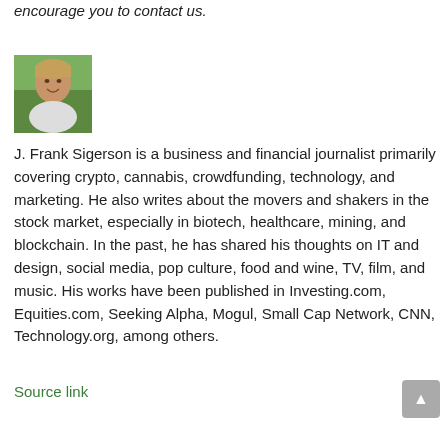encourage you to contact us.
[Figure (photo): Headshot photo of J. Frank Sigerson, a man with light hair outdoors with greenery in background]
J. Frank Sigerson is a business and financial journalist primarily covering crypto, cannabis, crowdfunding, technology, and marketing. He also writes about the movers and shakers in the stock market, especially in biotech, healthcare, mining, and blockchain. In the past, he has shared his thoughts on IT and design, social media, pop culture, food and wine, TV, film, and music. His works have been published in Investing.com, Equities.com, Seeking Alpha, Mogul, Small Cap Network, CNN, Technology.org, among others.
Source link